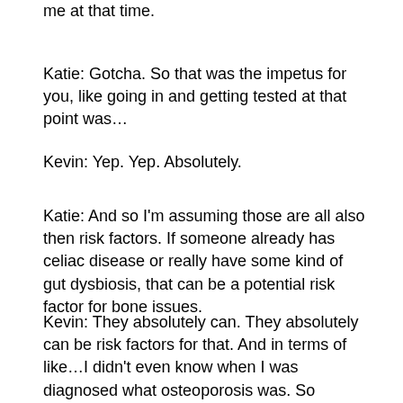me at that time.
Katie: Gotcha. So that was the impetus for you, like going in and getting tested at that point was…
Kevin: Yep. Yep. Absolutely.
Katie: And so I'm assuming those are all also then risk factors. If someone already has celiac disease or really have some kind of gut dysbiosis, that can be a potential risk factor for bone issues.
Kevin: They absolutely can. They absolutely can be risk factors for that. And in terms of like…I didn't even know when I was diagnosed what osteoporosis was. So osteoporosis literally means porous bone. It's characterized by either not enough bone formation, excessive bone loss, or a combination of all. In osteoporosis, both your bone density and your bone quality are reduced, and that's gonna increase your risk